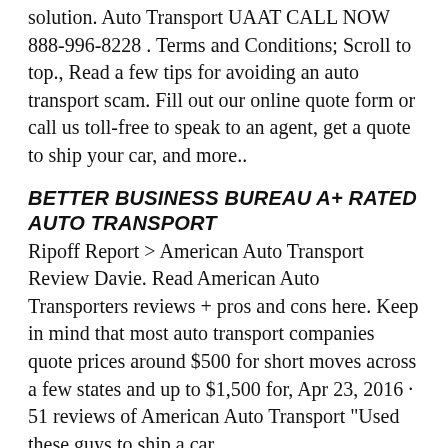solution. Auto Transport UAAT CALL NOW 888-996-8228 . Terms and Conditions; Scroll to top., Read a few tips for avoiding an auto transport scam. Fill out our online quote form or call us toll-free to speak to an agent, get a quote to ship your car, and more..
BETTER BUSINESS BUREAU A+ RATED AUTO TRANSPORT
Ripoff Report > American Auto Transport Review Davie. Read American Auto Transporters reviews + pros and cons here. Keep in mind that most auto transport companies quote prices around $500 for short moves across a few states and up to $1,500 for, Apr 23, 2016 · 51 reviews of American Auto Transport "Used these guys to ship a car